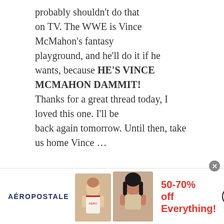probably shouldn't do that on TV. The WWE is Vince McMahon's fantasy playground, and he'll do it if he wants, because HE'S VINCE MCMAHON DAMMIT! Thanks for a great thread today, I loved this one. I'll be back again tomorrow. Until then, take us home Vince …
[Figure (illustration): Aéropostale advertisement banner showing two female models wearing Aéropostale clothing, with text '50-70% off Everything!' in red and a 'BUY NOW' button.]